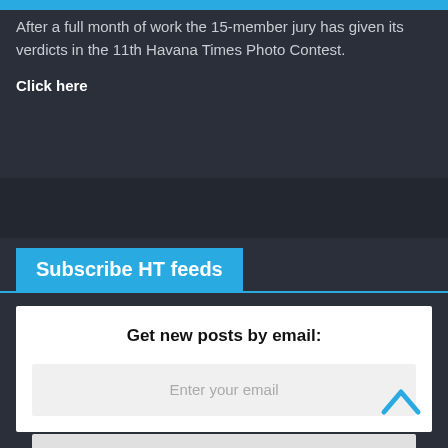After a full month of work the 15-member jury has given its verdicts in the 11th Havana Times Photo Contest.
Click here
Subscribe HT feeds
Get new posts by email:
Enter your email
Subscribe